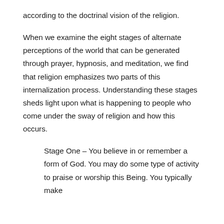according to the doctrinal vision of the religion.
When we examine the eight stages of alternate perceptions of the world that can be generated through prayer, hypnosis, and meditation, we find that religion emphasizes two parts of this internalization process. Understanding these stages sheds light upon what is happening to people who come under the sway of religion and how this occurs.
Stage One – You believe in or remember a form of God. You may do some type of activity to praise or worship this Being. You typically make